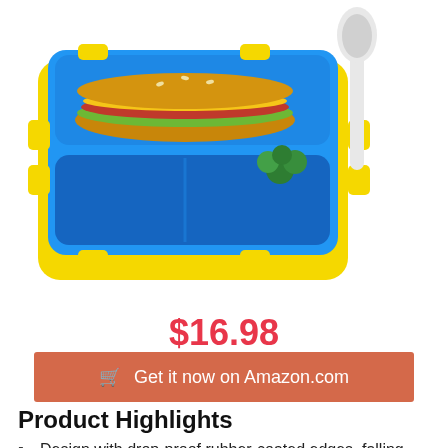[Figure (photo): A blue and yellow bento lunch box with compartments containing a sandwich and broccoli, with a white plastic fork/spoon beside it, on a white background.]
$16.98
🛒 Get it now on Amazon.com
Product Highlights
Design with drop-proof rubber-coated edges, falling resistant, extremely durable for kids
???? MICROWAVE & DISHWASHER SAFE — The inner compartment tray is removable, stain & odor resistant, it can be heated safely in the microwave and cleans up easily in the dishwasher, we recommend hand washing the lid to preserve the leak proof seal and